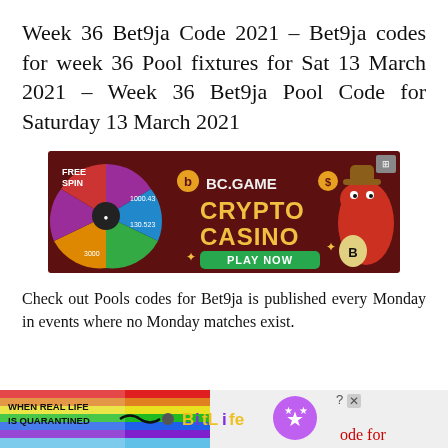Week 36 Bet9ja Code 2021 – Bet9ja codes for week 36 Pool fixtures for Sat 13 March 2021 – Week 36 Bet9ja Pool Code for Saturday 13 March 2021
[Figure (illustration): BC.GAME Crypto Casino advertisement banner with spinning wheel on left showing values 1000.43, 130.523, 3000, FREE SPIN text, BC.GAME logo, CRYPTO CASINO text in yellow, PLAY NOW green button, cartoon red dinosaur mascot with cowboy hat on right]
Check out Pools codes for Bet9ja is published every Monday in events where no Monday matches exist.
[Figure (illustration): BitLife advertisement banner with rainbow background on left, WHEN REAL LIFE IS QUARANTINED text, BitLife logo with star emoji mascot, partially cut off showing 'ode for' text in red on right]